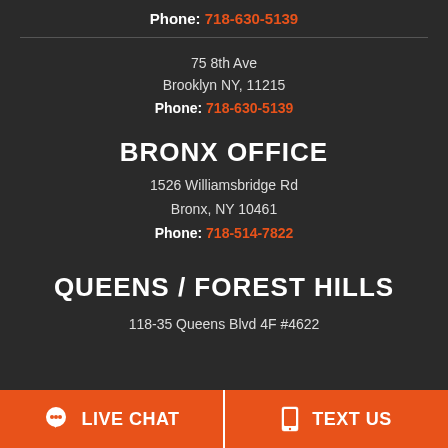Phone: 718-630-5139
75 8th Ave
Brooklyn NY, 11215
Phone: 718-630-5139
BRONX OFFICE
1526 Williamsbridge Rd
Bronx, NY 10461
Phone: 718-514-7822
QUEENS / FOREST HILLS
118-35 Queens Blvd 4F #4622
LIVE CHAT
TEXT US